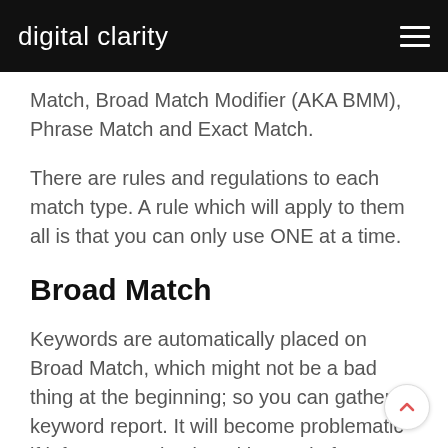digital clarity
Match, Broad Match Modifier (AKA BMM), Phrase Match and Exact Match.
There are rules and regulations to each match type. A rule which will apply to them all is that you can only use ONE at a time.
Broad Match
Keywords are automatically placed on Broad Match, which might not be a bad thing at the beginning; so you can gather a keyword report. It will become problematic if left unsupervised, and ignored. If your